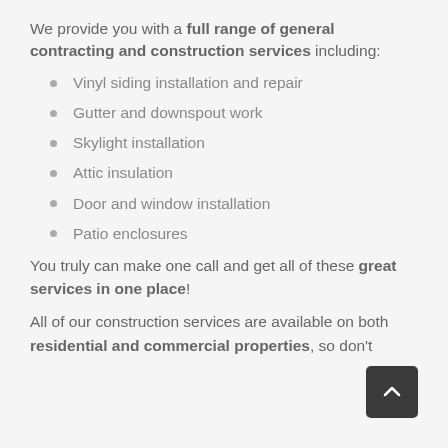We provide you with a full range of general contracting and construction services including:
Vinyl siding installation and repair
Gutter and downspout work
Skylight installation
Attic insulation
Door and window installation
Patio enclosures
You truly can make one call and get all of these great services in one place!
All of our construction services are available on both residential and commercial properties, so don't